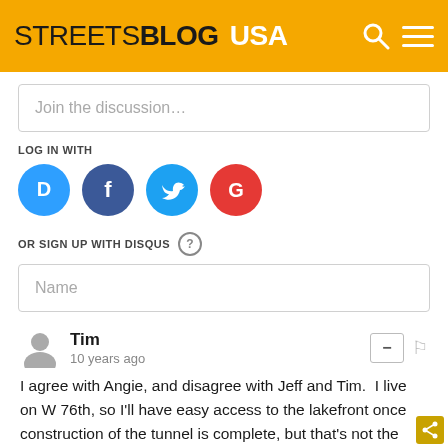STREETSBLOG USA
Join the discussion…
LOG IN WITH
[Figure (infographic): Social login icons: Disqus (blue), Facebook (dark blue), Twitter (light blue), Google (red)]
OR SIGN UP WITH DISQUS ?
Name
Tim
10 years ago
I agree with Angie, and disagree with Jeff and Tim.  I live on W 76th, so I'll have easy access to the lakefront once construction of the tunnel is complete, but that's not the point. The point is that turning the highway into a street would generate great long-term outcomes for the neighborhood.